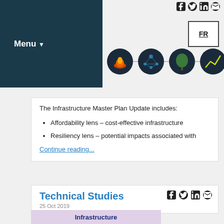Menu
[Figure (illustration): Four dark circular icons: fire/nature, network/brain, tree, and upward arrow chart, connected by a horizontal line]
[Figure (logo): FR language toggle button]
The Infrastructure Master Plan Update includes:
Affordability lens – cost-effective infrastructure
Resiliency lens – potential impacts associated with
Continue reading...
Technical Studies
25 Oct 2019
[Figure (screenshot): Infrastructure Master Plan image card with purple/lavender background showing text 'Infrastructure Master Pl...']